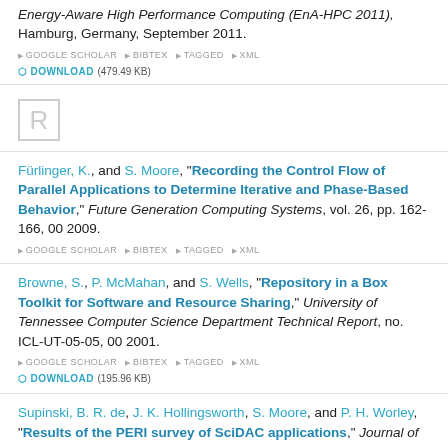Energy-Aware High Performance Computing (EnA-HPC 2011), Hamburg, Germany, September 2011.
GOOGLE SCHOLAR  BIBTEX  TAGGED  XML  DOWNLOAD (479.49 KB)
[Figure (other): Section letter R in a square box outline, gray color, serving as alphabetical section divider]
Fürlinger, K., and S. Moore, "Recording the Control Flow of Parallel Applications to Determine Iterative and Phase-Based Behavior," Future Generation Computing Systems, vol. 26, pp. 162-166, 00 2009.
GOOGLE SCHOLAR  BIBTEX  TAGGED  XML
Browne, S., P. McMahan, and S. Wells, "Repository in a Box Toolkit for Software and Resource Sharing," University of Tennessee Computer Science Department Technical Report, no. ICL-UT-05-05, 00 2001.
GOOGLE SCHOLAR  BIBTEX  TAGGED  XML  DOWNLOAD (195.96 KB)
Supinski, B. R. de, J. K. Hollingsworth, S. Moore, and P. H. Worley, "Results of the PERI survey of SciDAC applications," Journal of